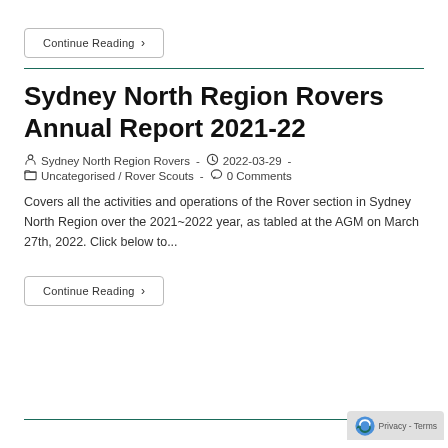Continue Reading >
Sydney North Region Rovers Annual Report 2021-22
Sydney North Region Rovers  -  2022-03-29  -  Uncategorised / Rover Scouts  -  0 Comments
Covers all the activities and operations of the Rover section in Sydney North Region over the 2021~2022 year, as tabled at the AGM on March 27th, 2022. Click below to...
Continue Reading >